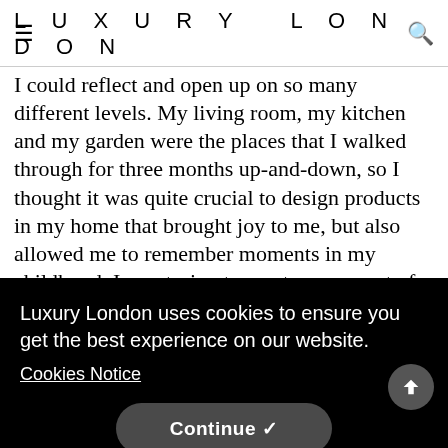LUXURY LONDON
I could reflect and open up on so many different levels. My living room, my kitchen and my garden were the places that I walked through for three months up-and-down, so I thought it was quite crucial to design products in my home that brought joy to me, but also allowed me to remember moments in my childhood. I was trying to create a moment of happiness within my home because it was a space I trusted and the space where I felt most safe in. It was a project that I did by accident but I also [own] [place] [the] [did]
Luxury London uses cookies to ensure you get the best experience on our website.
Cookies Notice
Continue ✓
What I love about doing large-scale installations is that